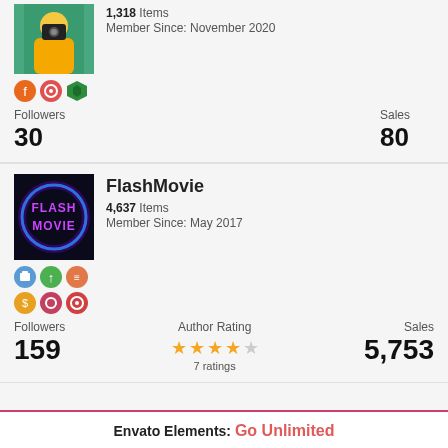[Figure (photo): Profile photo of a person holding a camera, teal/green background]
1,318 Items
Member Since: November 2020
[Figure (other): Three social/badge icons: orange Facebook, orange/red badge, green badge]
Followers
30
Sales
80
[Figure (photo): FlashMovie logo - neon purple text on dark background]
FlashMovie
4,637 Items
Member Since: May 2017
[Figure (other): Six social/badge icons in two rows]
Followers
159
Author Rating
[Figure (other): 4 gold stars and 1 grey star rating]
7 ratings
Sales
5,753
Envato Elements:  Go Unlimited